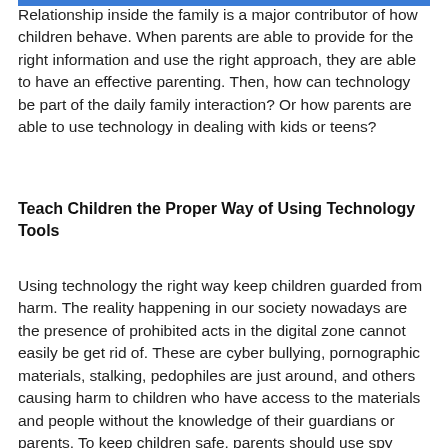Relationship inside the family is a major contributor of how children behave. When parents are able to provide for the right information and use the right approach, they are able to have an effective parenting. Then, how can technology be part of the daily family interaction? Or how parents are able to use technology in dealing with kids or teens?
Teach Children the Proper Way of Using Technology Tools
Using technology the right way keep children guarded from harm. The reality happening in our society nowadays are the presence of prohibited acts in the digital zone cannot easily be get rid of. These are cyber bullying, pornographic materials, stalking, pedophiles are just around, and others causing harm to children who have access to the materials and people without the knowledge of their guardians or parents. To keep children safe, parents should use spy device for cell phone to monitor their children's use of their devices.